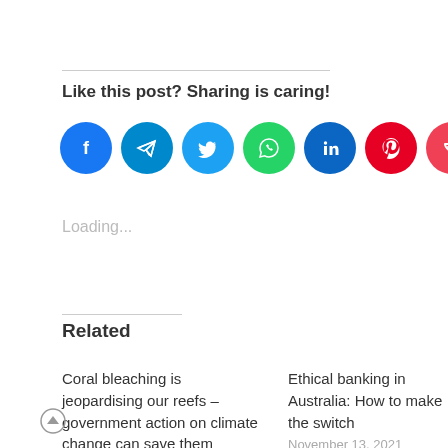Like this post? Sharing is caring!
[Figure (infographic): Row of 7 social media sharing icon buttons: Facebook (blue), Telegram (blue), Twitter (light blue), WhatsApp (green), LinkedIn (dark blue), Pinterest (red), Pocket (dark red/crimson)]
Loading...
Related
Coral bleaching is jeopardising our reefs – government action on climate change can save them
Ethical banking in Australia: How to make the switch
November 13, 2021
In "Ideas"